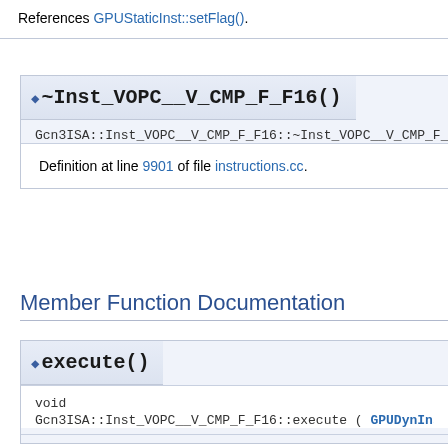References GPUStaticInst::setFlag().
◆ ~Inst_VOPC__V_CMP_F_F16()
Gcn3ISA::Inst_VOPC__V_CMP_F_F16::~Inst_VOPC__V_CMP_F_F
Definition at line 9901 of file instructions.cc.
Member Function Documentation
◆ execute()
void
Gcn3ISA::Inst_VOPC__V_CMP_F_F16::execute ( GPUDynInstPtr